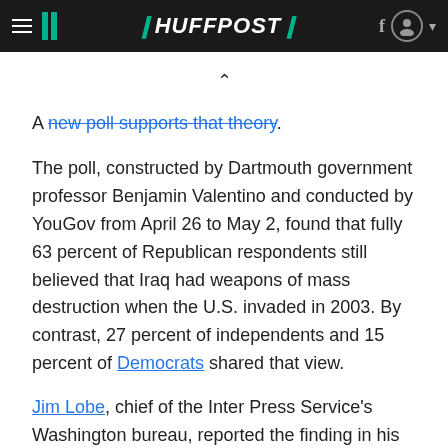HuffPost navigation bar
A new poll supports that theory.
The poll, constructed by Dartmouth government professor Benjamin Valentino and conducted by YouGov from April 26 to May 2, found that fully 63 percent of Republican respondents still believed that Iraq had weapons of mass destruction when the U.S. invaded in 2003. By contrast, 27 percent of independents and 15 percent of Democrats shared that view.
Jim Lobe, chief of the Inter Press Service's Washington bureau, reported the finding in his